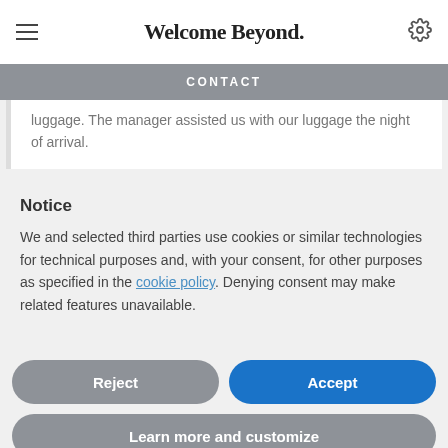Welcome Beyond.
CONTACT
luggage. The manager assisted us with our luggage the night of arrival.
Notice
We and selected third parties use cookies or similar technologies for technical purposes and, with your consent, for other purposes as specified in the cookie policy. Denying consent may make related features unavailable.
Reject
Accept
Learn more and customize